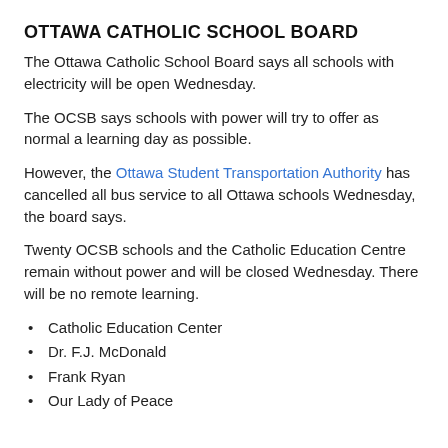OTTAWA CATHOLIC SCHOOL BOARD
The Ottawa Catholic School Board says all schools with electricity will be open Wednesday.
The OCSB says schools with power will try to offer as normal a learning day as possible.
However, the Ottawa Student Transportation Authority has cancelled all bus service to all Ottawa schools Wednesday, the board says.
Twenty OCSB schools and the Catholic Education Centre remain without power and will be closed Wednesday. There will be no remote learning.
Catholic Education Center
Dr. F.J. McDonald
Frank Ryan
Our Lady of Peace